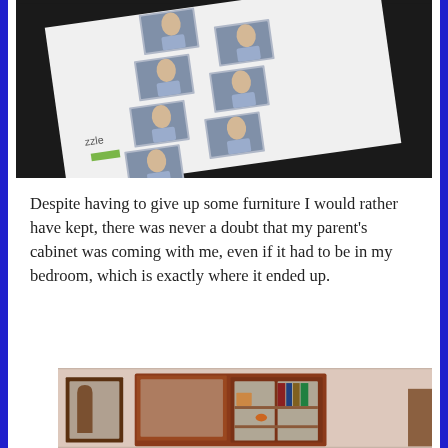[Figure (photo): Photo strip sheet showing multiple small portrait photos of a person arranged in two columns on a white background, placed on a dark surface. A small green and white logo is visible in the lower left corner.]
Despite having to give up some furniture I would rather have kept, there was never a doubt that my parent’s cabinet was coming with me, even if it had to be in my bedroom, which is exactly where it ended up.
[Figure (photo): A wooden display cabinet with glass doors showing books and decorative items on shelves, positioned in a bedroom with a framed picture visible to the left.]